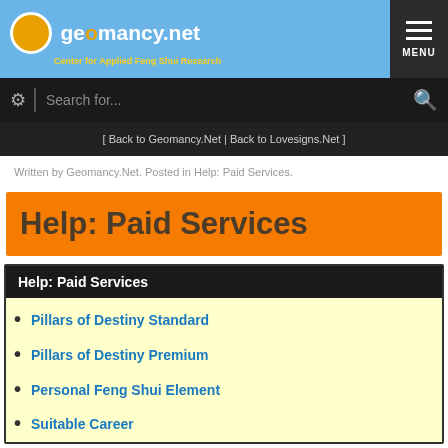geomancy.net – Center for Applied Feng Shui Research
Search for...
[ Back to Geomancy.Net | Back to Lovesigns.Net ]
Written by Geomancy.Net. Posted in Help: Paid Services.
Help: Paid Services
Help: Paid Services
Pillars of Destiny Standard
Pillars of Destiny Premium
Personal Feng Shui Element
Suitable Career